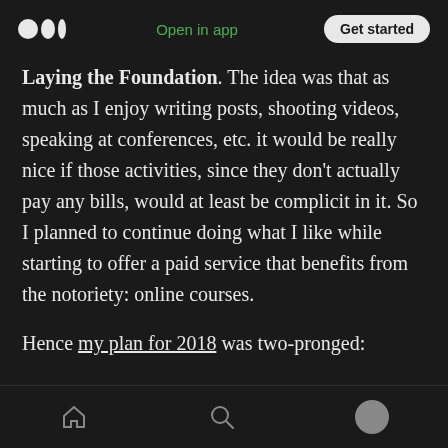Medium app header — Open in app | Get started
Laying the Foundation. The idea was that as much as I enjoy writing posts, shooting videos, speaking at conferences, etc. it would be really nice if those activities, since they don't actually pay any bills, would at least be complicit in it. So I planned to continue doing what I like while starting to offer a paid service that benefits from the notoriety: online courses.
Hence my plan for 2018 was two-pronged:
1. continue writing, recording, speaking, etc.
Navigation bar: Home, Search, Profile